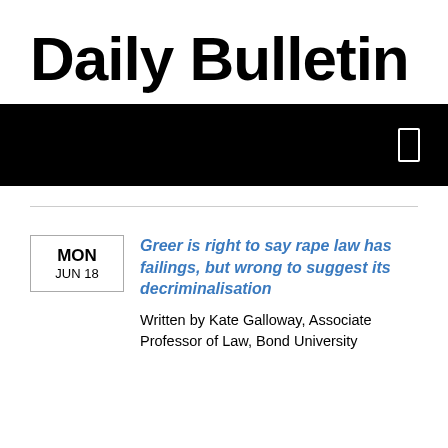Daily Bulletin
[Figure (other): Black banner bar with a white rectangle icon on the right side]
MON JUN 18 | Greer is right to say rape law has failings, but wrong to suggest its decriminalisation | Written by Kate Galloway, Associate Professor of Law, Bond University